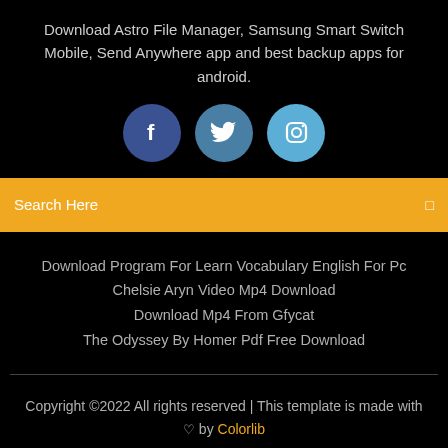Download Astro File Manager, Samsung Smart Switch Mobile, Send Anywhere app and best backup apps for android.
[Figure (infographic): Three social media icon circles: Facebook (dark blue), Twitter (medium blue), Instagram (light blue)]
Search Here
Download Program For Learn Vocabulary English For Pc
Chelsie Aryn Video Mp4 Download
Download Mp4 From Gfycat
The Odyssey By Homer Pdf Free Download
Copyright ©2022 All rights reserved | This template is made with ♡ by Colorlib